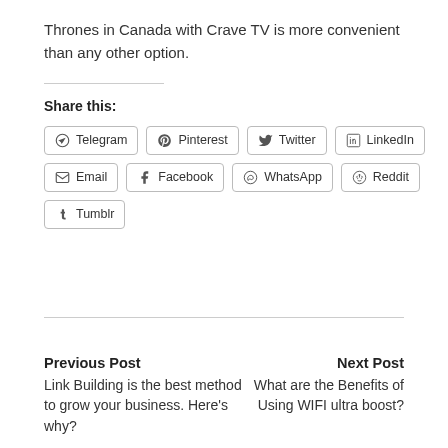Thrones in Canada with Crave TV is more convenient than any other option.
Share this:
Telegram | Pinterest | Twitter | LinkedIn | Email | Facebook | WhatsApp | Reddit | Tumblr
Previous Post
Link Building is the best method to grow your business. Here's why?
Next Post
What are the Benefits of Using WIFI ultra boost?